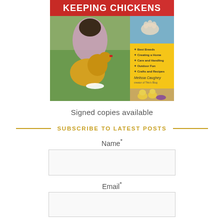[Figure (photo): Book cover of 'Keeping Chickens' showing a young girl with a chicken in a garden, plus supplemental images of chicks and a cat paw, with yellow bullet list of topics: Best Breeds, Creating a Home, Care and Handling, Outdoor Fun, Crafts and Recipes, by Melissa Caughey]
Signed copies available
SUBSCRIBE TO LATEST POSTS
Name*
Email*